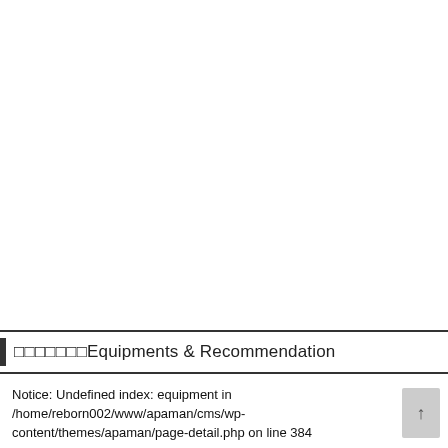Equipments & Recommendation
Notice: Undefined index: equipment in /home/reborn002/www/apaman/cms/wp-content/themes/apaman/page-detail.php on line 384